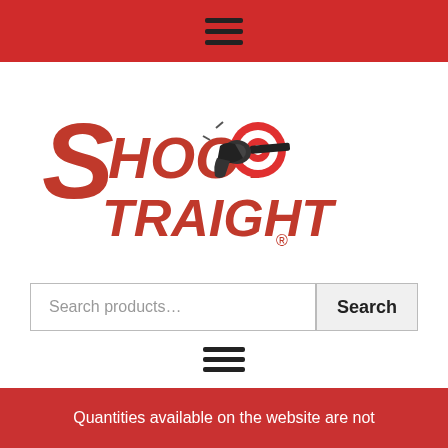Navigation menu bar (hamburger icon)
[Figure (logo): Shoot Straight logo with red bold text and revolver/target graphic]
Search products...
Search
Quantities available on the website are not